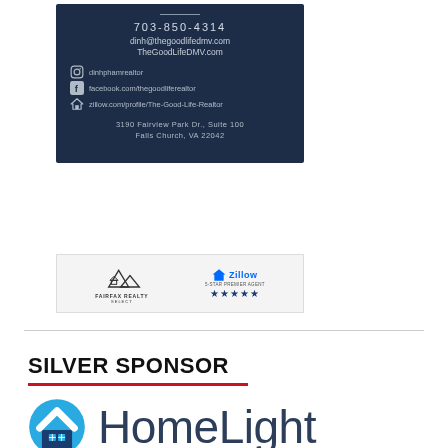[Figure (other): Business card for Dinh Pham realtor with dark navy background showing phone 703-850-4314, email dinh@thegoodlifedmv.com, website TheGoodLifeDMV.com, social media handles for Instagram (dinhphamrealtor), Facebook (facebook.com/thegoodliferealtor), Zillow (zillow.com/profile/The-Good-Life-Realtor), and address 3190 Fairview Park Dr., Suite 100, Falls Church, VA 22042. Bottom strip shows Fairfax Realty Select logo and Zillow 5-Star Premier Agent logo with stars.]
SILVER SPONSOR
[Figure (logo): HomeLight logo with blue circular house icon and dark blue HomeLight text]